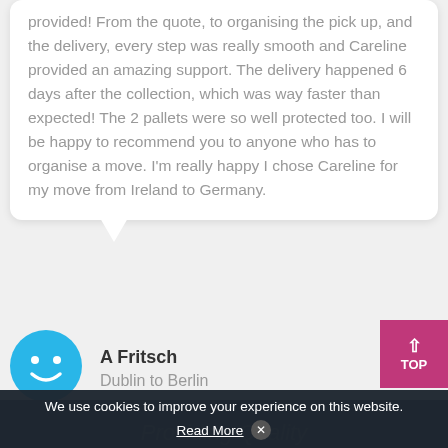provided! From the quote, to organising the pick up, and the delivery, every step was really smooth and Careline provided an amazing support. The delivery happened 6 days after the collection, which was way faster than expected! The 2 pallets were so well protected too. I will be happy to recommend you to anyone who has to organise a move. I'm really happy I chose Careline for my move from Ireland to Germany.
[Figure (illustration): Blue circle avatar with simple smiley face icon]
A Fritsch
Dublin to Berlin
We use cookies to improve your experience on this website.
Read More